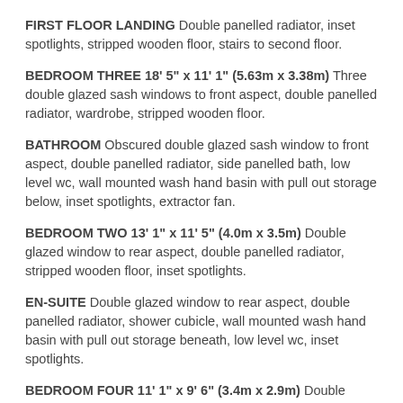FIRST FLOOR LANDING Double panelled radiator, inset spotlights, stripped wooden floor, stairs to second floor.
BEDROOM THREE 18' 5" x 11' 1" (5.63m x 3.38m) Three double glazed sash windows to front aspect, double panelled radiator, wardrobe, stripped wooden floor.
BATHROOM Obscured double glazed sash window to front aspect, double panelled radiator, side panelled bath, low level wc, wall mounted wash hand basin with pull out storage below, inset spotlights, extractor fan.
BEDROOM TWO 13' 1" x 11' 5" (4.0m x 3.5m) Double glazed window to rear aspect, double panelled radiator, stripped wooden floor, inset spotlights.
EN-SUITE Double glazed window to rear aspect, double panelled radiator, shower cubicle, wall mounted wash hand basin with pull out storage beneath, low level wc, inset spotlights.
BEDROOM FOUR 11' 1" x 9' 6" (3.4m x 2.9m) Double glazed window to rear aspect, double panelled radiator, stripped wooden floor.